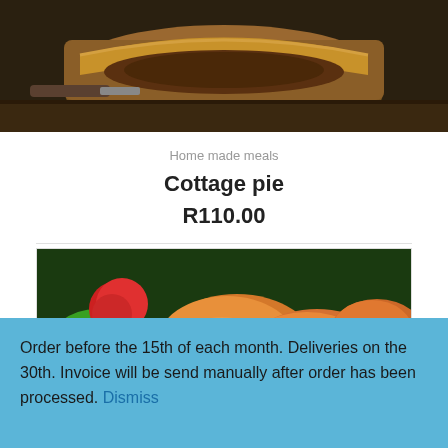[Figure (photo): Photo of a cottage pie in a baking dish on a wooden board, dark moody background]
Home made meals
Cottage pie
R110.00
[Figure (photo): Photo of cooked chicken pieces with herbs and tomatoes in a skillet]
Order before the 15th of each month. Deliveries on the 30th. Invoice will be send manually after order has been processed. Dismiss